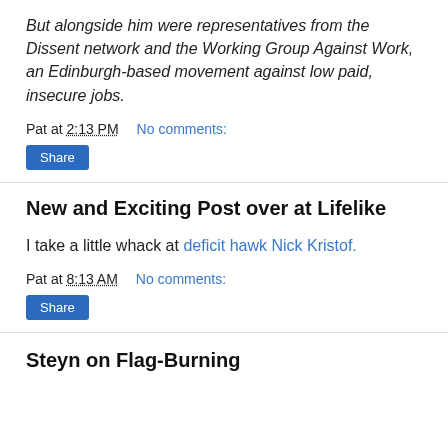But alongside him were representatives from the Dissent network and the Working Group Against Work, an Edinburgh-based movement against low paid, insecure jobs.
Pat at 2:13 PM    No comments:
Share
New and Exciting Post over at Lifelike
I take a little whack at deficit hawk Nick Kristof.
Pat at 8:13 AM    No comments:
Share
Steyn on Flag-Burning